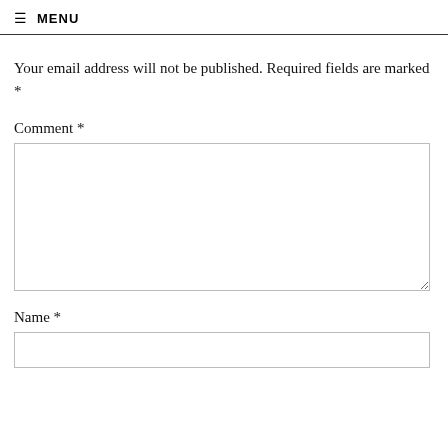≡ MENU
Your email address will not be published. Required fields are marked *
Comment *
Name *